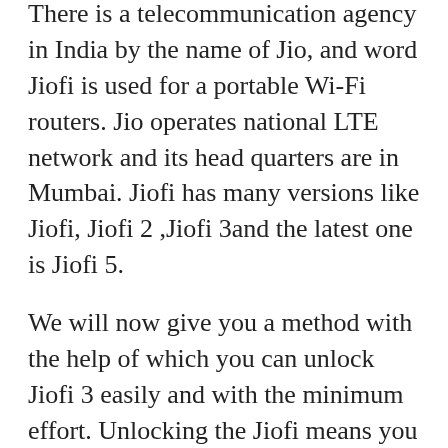There is a telecommunication agency in India by the name of Jio, and word Jiofi is used for a portable Wi-Fi routers. Jio operates national LTE network and its head quarters are in Mumbai. Jiofi has many versions like Jiofi, Jiofi 2 ,Jiofi 3and the latest one is Jiofi 5.
We will now give you a method with the help of which you can unlock Jiofi 3 easily and with the minimum effort. Unlocking the Jiofi means you will have Access to the all the 3G 4G connections for free.
Let’s have a look on the history, Jiofi was launched 5th September  2016. There was a Jio offer running in at that time 8 to 9 months before the official launch of the Jio. From